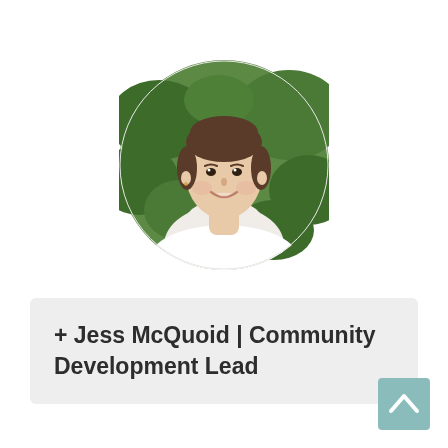[Figure (photo): Circular profile photo of a young woman with brown hair, smiling, wearing a white top, with green foliage in the background.]
+ Jess McQuoid | Community Development Lead
[Figure (illustration): Teal/light blue square button with a white upward-pointing chevron arrow, used as a back-to-top navigation button.]